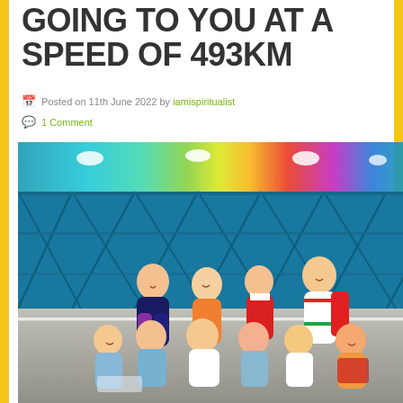GOING TO YOU AT A SPEED OF 493KM
Posted on 11th June 2022 by iamispiritualist
1 Comment
[Figure (photo): Group photo of young Korean actors/cast members posing inside a badminton court with colorful gradient lighting (cyan, green, yellow, orange, red, purple) on the walls. Multiple people in sports/school uniforms arranged in two rows — some standing, some crouching — smiling at the camera.]